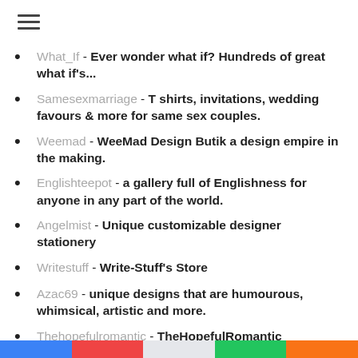What_If - Ever wonder what if? Hundreds of great what if's...
Samesexmarriage - T shirts, invitations, wedding favours & more for same sex couples.
Weemad - WeeMad Design Butik a design empire in the making.
Englishteepot - a gallery full of Englishness for anyone in any part of the world.
Angelmist - Unique customizable designer stationery
Writestuff - Write-Stuff's Store
Azac69 - unique designs that are humourous, whimsical, artistic and more.
Thehopefulromantic - TheHopefulRomantic
Doracruceru - I am a graphic designer and photographer. Romania Dora Cruceru
Custominvites - Unique Wedding & Party Invitations you can design online!